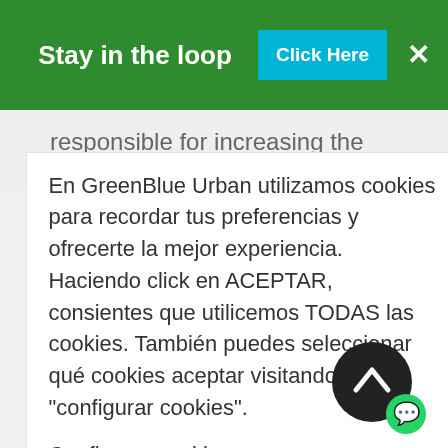Stay in the loop | Click Here | ×
responsible for increasing the GBU brand across several
En GreenBlue Urban utilizamos cookies para recordar tus preferencias y ofrecerte la mejor experiencia. Haciendo click en ACEPTAR, consientes que utilicemos TODAS las cookies. También puedes seleccionar qué cookies aceptar visitando "configurar cookies".
Configurar cookies
RECHAZAR TODAS
ACEPTAR TODAS
View LinkedIn Profile